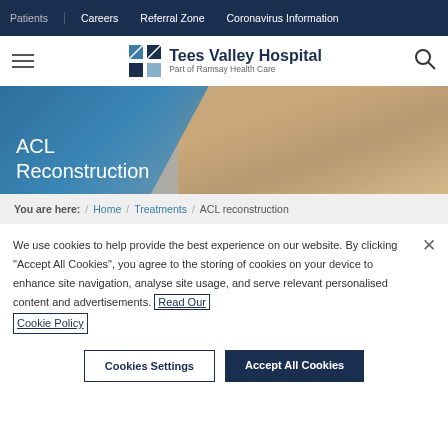Patients | Careers | Referral Zone | Coronavirus Information
[Figure (logo): Tees Valley Hospital logo with blue grid icon and text 'Part of Ramsay Health Care']
[Figure (photo): Hero banner showing ACL Reconstruction with a person holding their knee, blue gradient overlay on left]
ACL Reconstruction
You are here: / Home / Treatments / ACL reconstruction
We use cookies to help provide the best experience on our website. By clicking "Accept All Cookies", you agree to the storing of cookies on your device to enhance site navigation, analyse site usage, and serve relevant personalised content and advertisements. Read Our Cookie Policy